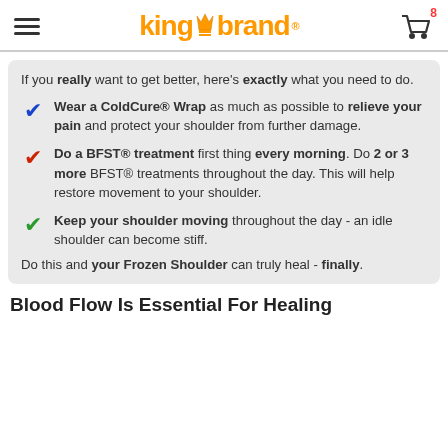King Brand logo and cart with 8 items
If you really want to get better, here's exactly what you need to do.
Wear a ColdCure® Wrap as much as possible to relieve your pain and protect your shoulder from further damage.
Do a BFST® treatment first thing every morning. Do 2 or 3 more BFST® treatments throughout the day. This will help restore movement to your shoulder.
Keep your shoulder moving throughout the day - an idle shoulder can become stiff.
Do this and your Frozen Shoulder can truly heal - finally.
Blood Flow Is Essential For Healing